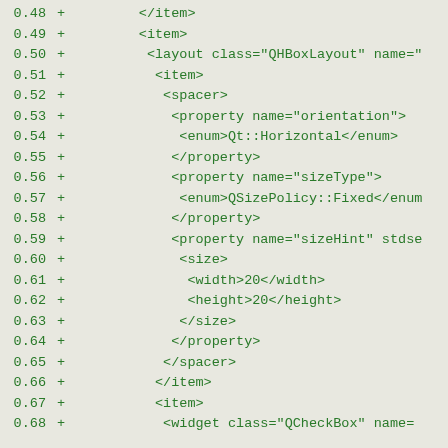Code diff showing XML layout lines 0.48 through 0.68 with green diff markers
0.48 + </item>
0.49 + <item>
0.50 + <layout class="QHBoxLayout" name="
0.51 + <item>
0.52 + <spacer>
0.53 + <property name="orientation">
0.54 + <enum>Qt::Horizontal</enum>
0.55 + </property>
0.56 + <property name="sizeType">
0.57 + <enum>QSizePolicy::Fixed</enum
0.58 + </property>
0.59 + <property name="sizeHint" stdse
0.60 + <size>
0.61 + <width>20</width>
0.62 + <height>20</height>
0.63 + </size>
0.64 + </property>
0.65 + </spacer>
0.66 + </item>
0.67 + <item>
0.68 + <widget class="QCheckBox" name=